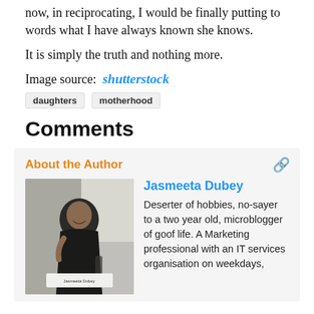now, in reciprocating, I would be finally putting to words what I have always known she knows.
It is simply the truth and nothing more.
Image source: shutterstock
daughters
motherhood
Comments
About the Author
[Figure (photo): Black and white photo of Jasmeeta Dubey seated at a table with a nameplate reading 'Jasmeeta Dubey', smiling at camera]
Jasmeeta Dubey
Deserter of hobbies, no-sayer to a two year old, microblogger of goof life. A Marketing professional with an IT services organisation on weekdays,